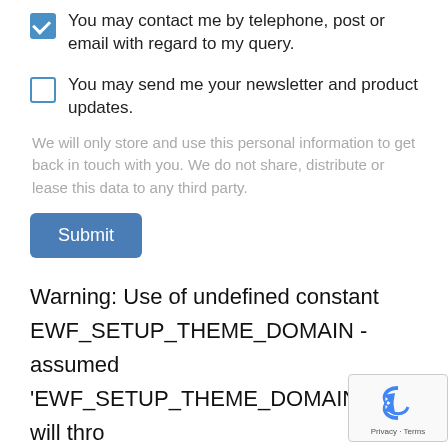You may contact me by telephone, post or email with regard to my query.
You may send me your newsletter and product updates.
We will only store and use this personal information to get back in touch with you. We do not share, distribute or lease this data to any third party.
Submit
Warning: Use of undefined constant EWF_SETUP_THEME_DOMAIN - assumed 'EWF_SETUP_THEME_DOMAIN' (this will throw Error in a future version of PHP) in /homepages/14/d94415465 3/htdocs/wp-